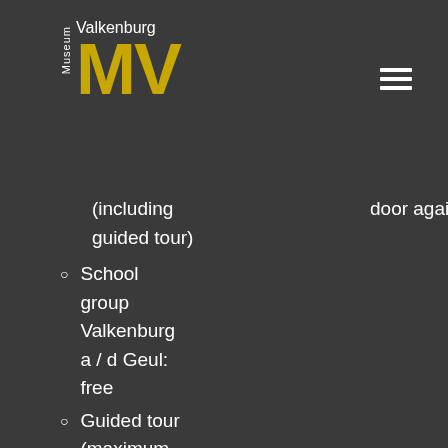Museum Valkenburg MV
(including guided tour)
door again.
School group Valkenburg a / d Geul: free
Guided tour (maximum 25 people): € 25.00
A supplement may be charged for